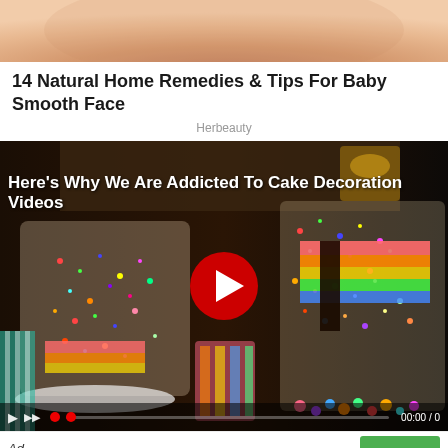[Figure (photo): Close-up of a person's face/chin area, skin texture visible]
14 Natural Home Remedies & Tips For Baby Smooth Face
Herbeauty
[Figure (screenshot): Video thumbnail showing colorful sprinkle-covered cakes with a red play button overlay and title 'Here's Why We Are Addicted To Cake Decoration Videos']
Ad